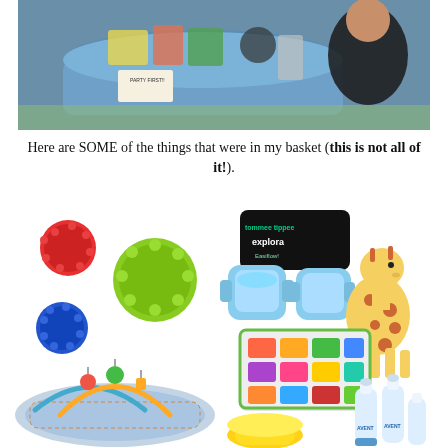[Figure (photo): A person sitting behind a large blue tub/basket filled with baby items and gifts at what appears to be a baby shower.]
Here are SOME of the things that were in my basket (this is not all of it!).
[Figure (photo): A collage of baby products including colorful sensory balls, Tommee Tippee Explora sippy cups, a Sophie the Giraffe teether, baby food storage containers, a baby play gym, stacking rings toy, and Philips Avent baby bottles.]